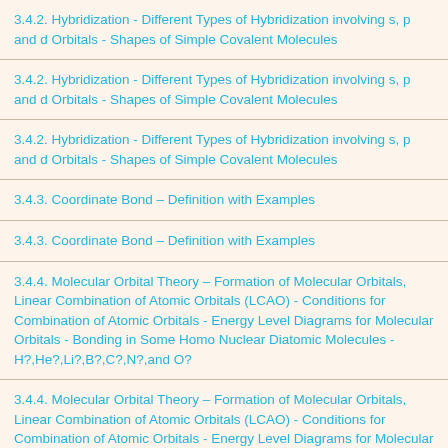3.4.2. Hybridization - Different Types of Hybridization involving s, p and d Orbitals - Shapes of Simple Covalent Molecules
3.4.2. Hybridization - Different Types of Hybridization involving s, p and d Orbitals - Shapes of Simple Covalent Molecules
3.4.2. Hybridization - Different Types of Hybridization involving s, p and d Orbitals - Shapes of Simple Covalent Molecules
3.4.3. Coordinate Bond – Definition with Examples
3.4.3. Coordinate Bond – Definition with Examples
3.4.4. Molecular Orbital Theory – Formation of Molecular Orbitals, Linear Combination of Atomic Orbitals (LCAO) - Conditions for Combination of Atomic Orbitals - Energy Level Diagrams for Molecular Orbitals - Bonding in Some Homo Nuclear Diatomic Molecules - H?,He?,Li?,B?,C?,N?,and O?
3.4.4. Molecular Orbital Theory – Formation of Molecular Orbitals, Linear Combination of Atomic Orbitals (LCAO) - Conditions for Combination of Atomic Orbitals - Energy Level Diagrams for Molecular Orbitals - Bonding in Some Homo